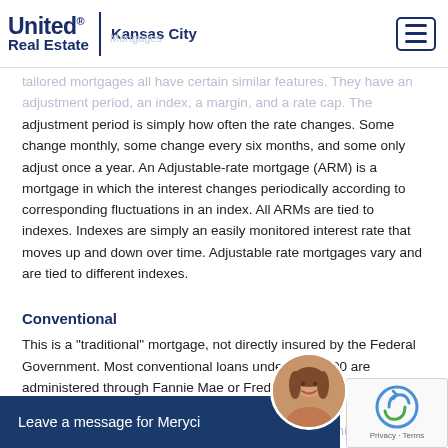United Real Estate | Kansas City — Mortgages
tailored mortgages all have certain similar features. They have an adjustment period, an index, a margin, and a rate cap. The adjustment period is simply how often the rate changes. Some change monthly, some change every six months, and some only adjust once a year. An Adjustable-rate mortgage (ARM) is a mortgage in which the interest changes periodically according to corresponding fluctuations in an index. All ARMs are tied to indexes. Indexes are simply an easily monitored interest rate that moves up and down over time. Adjustable rate mortgages vary and are tied to different indexes.
Conventional
This is a "traditional" mortgage, not directly insured by the Federal Government. Most conventional loans under $300,700 are administered through Fannie Mae or Freddie Mac (private corporations but regulated by the government). Loans greater than this amount are considered jumbo loans and carry a higher risk investment...